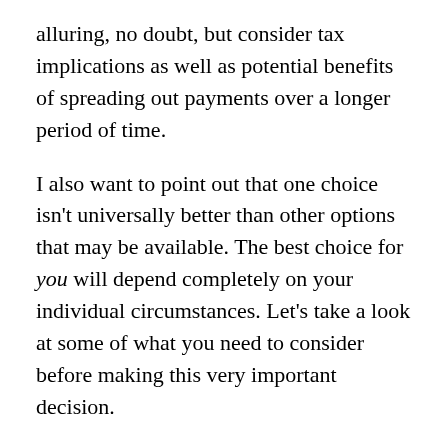alluring, no doubt, but consider tax implications as well as potential benefits of spreading out payments over a longer period of time.
I also want to point out that one choice isn't universally better than other options that may be available. The best choice for you will depend completely on your individual circumstances. Let's take a look at some of what you need to consider before making this very important decision.
Start by understanding the math
As you start to do your analysis, it can be helpful to compare the raw numbers. As an example,